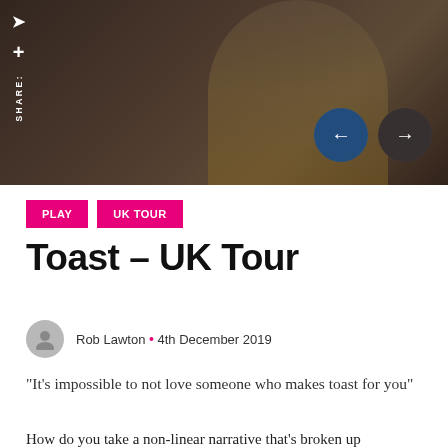[Figure (photo): Dark moody hero image showing partial view of a figure, with navigation circle buttons overlaid (left arrow in blue circle, right arrow in dark circle) and a vertical SHARE label with social icons on the left side.]
PLAY
UK TOUR
Toast – UK Tour
Rob Lawton · 4th December 2019
“It’s impossible to not love someone who makes toast for you”
How do you take a non-linear narrative that’s broken up